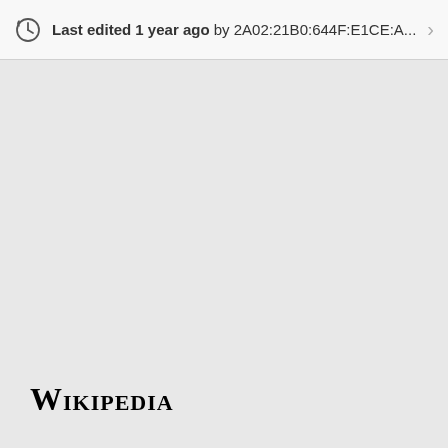Last edited 1 year ago by 2A02:21B0:644F:E1CE:A...
[Figure (logo): Wikipedia wordmark logo in serif small-caps font at bottom left]